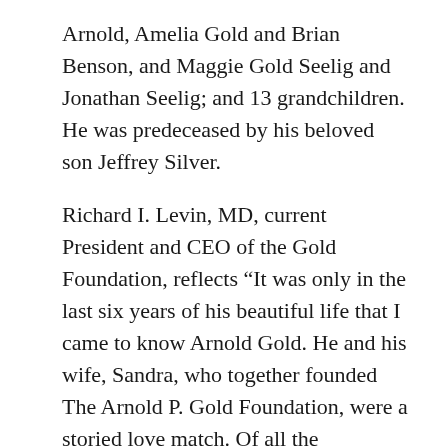Arnold, Amelia Gold and Brian Benson, and Maggie Gold Seelig and Jonathan Seelig; and 13 grandchildren. He was predeceased by his beloved son Jeffrey Silver.
Richard I. Levin, MD, current President and CEO of the Gold Foundation, reflects “It was only in the last six years of his beautiful life that I came to know Arnold Gold. He and his wife, Sandra, who together founded The Arnold P. Gold Foundation, were a storied love match. Of all the impressions I’ve drawn from his talks at White Coat Ceremonies across the country, I will miss his chronicle of their continuing love story the most. And if there is one word that this icon of humanism, of patient care, of compassion and empathy, embodies above all else, it is ‘love.’ We mourn for him, but as we